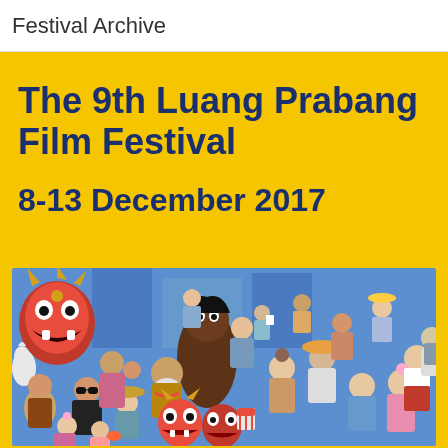Festival Archive
The 9th Luang Prabang Film Festival
8-13 December 2017
[Figure (illustration): Colorful illustrated artwork showing a diverse crowd of people and masked festival characters (demon/Barong masks, figures in traditional and modern dress from various cultures) gathered together, with blue background suggesting a festive outdoor cinema or festival scene.]